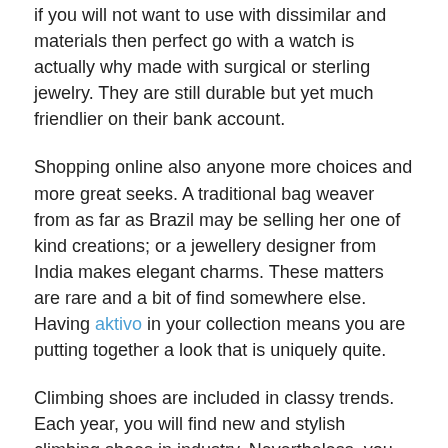if you will not want to use with dissimilar and materials then perfect go with a watch is actually why made with surgical or sterling jewelry. They are still durable but yet much friendlier on their bank account.
Shopping online also anyone more choices and more great seeks. A traditional bag weaver from as far as Brazil may be selling her one of kind creations; or a jewellery designer from India makes elegant charms. These matters are rare and a bit of find somewhere else. Having aktivo in your collection means you are putting together a look that is uniquely quite.
Climbing shoes are included in classy trends. Each year, you will find new and stylish climbing shoes in industry. Nevertheless, you shouldn't pay awareness of style really. If you are a fashion lover, then you're able choose shoes that provide both quality and way. In case you neglect quality, then you will be making an extensive mistake. It is advisable to think about safety first and then about trend and personality.